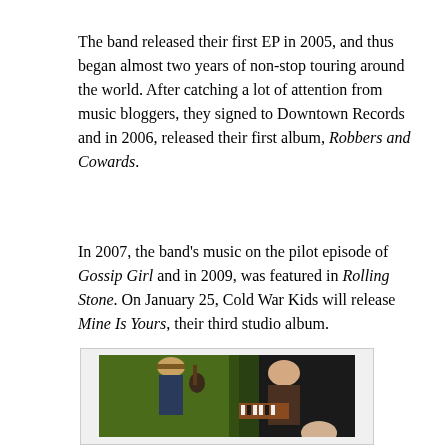The band released their first EP in 2005, and thus began almost two years of non-stop touring around the world. After catching a lot of attention from music bloggers, they signed to Downtown Records and in 2006, released their first album, Robbers and Cowards.
In 2007, the band's music on the pilot episode of Gossip Girl and in 2009, was featured in Rolling Stone. On January 25, Cold War Kids will release Mine Is Yours, their third studio album.
[Figure (photo): Band photo showing multiple members against a green wall background. One member wearing a tan fedora hat holds a guitar, another holds a small keyboard/melodica. Photo is cropped showing partial view of band members.]